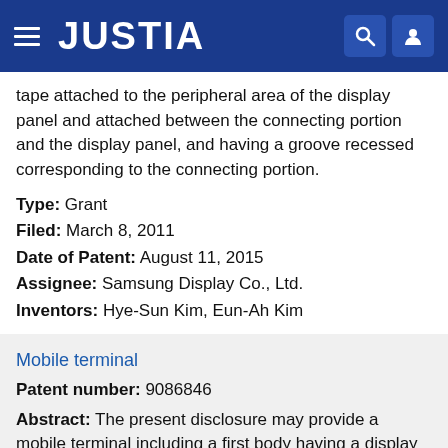JUSTIA
tape attached to the peripheral area of the display panel and attached between the connecting portion and the display panel, and having a groove recessed corresponding to the connecting portion.
Type: Grant
Filed: March 8, 2011
Date of Patent: August 11, 2015
Assignee: Samsung Display Co., Ltd.
Inventors: Hye-Sun Kim, Eun-Ah Kim
Mobile terminal
Patent number: 9086846
Abstract: The present disclosure may provide a mobile terminal including a first body having a display unit, and a second body provided with a circuit board for driving the display unit thereinside and combined with a rear